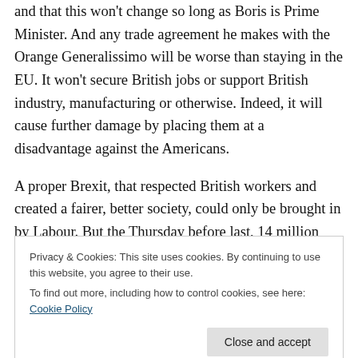and that this won't change so long as Boris is Prime Minister. And any trade agreement he makes with the Orange Generalissimo will be worse than staying in the EU. It won't secure British jobs or support British industry, manufacturing or otherwise. Indeed, it will cause further damage by placing them at a disadvantage against the Americans.
A proper Brexit, that respected British workers and created a fairer, better society, could only be brought in by Labour. But the Thursday before last, 14 million people were duped into rejecting that. But Labour is learning its lesson.
Privacy & Cookies: This site uses cookies. By continuing to use this website, you agree to their use.
To find out more, including how to control cookies, see here: Cookie Policy
Close and accept
Labour's millions in getting this election th...